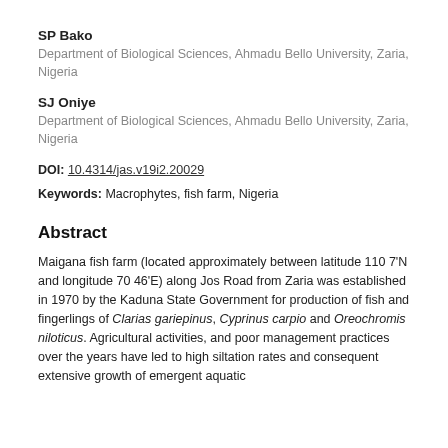SP Bako
Department of Biological Sciences, Ahmadu Bello University, Zaria, Nigeria
SJ Oniye
Department of Biological Sciences, Ahmadu Bello University, Zaria, Nigeria
DOI: 10.4314/jas.v19i2.20029
Keywords: Macrophytes, fish farm, Nigeria
Abstract
Maigana fish farm (located approximately between latitude 110 7'N and longitude 70 46'E) along Jos Road from Zaria was established in 1970 by the Kaduna State Government for production of fish and fingerlings of Clarias gariepinus, Cyprinus carpio and Oreochromis niloticus. Agricultural activities, and poor management practices over the years have led to high siltation rates and consequent extensive growth of emergent aquatic